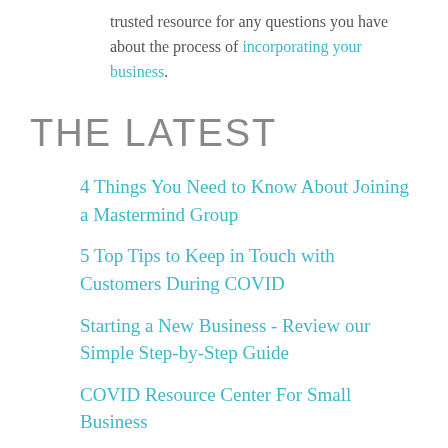trusted resource for any questions you have about the process of incorporating your business.
THE LATEST
4 Things You Need to Know About Joining a Mastermind Group
5 Top Tips to Keep in Touch with Customers During COVID
Starting a New Business - Review our Simple Step-by-Step Guide
COVID Resource Center For Small Business
Meet CorpCo - Marketing (and Office